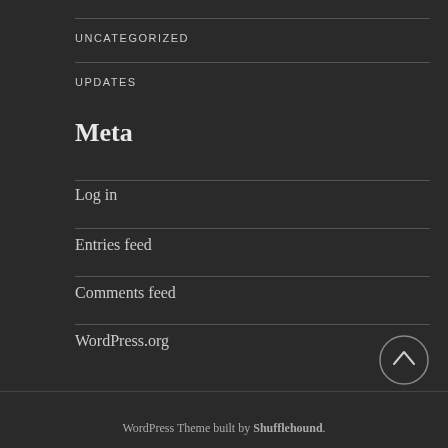UNCATEGORIZED
UPDATES
Meta
Log in
Entries feed
Comments feed
WordPress.org
WordPress Theme built by Shufflehound.